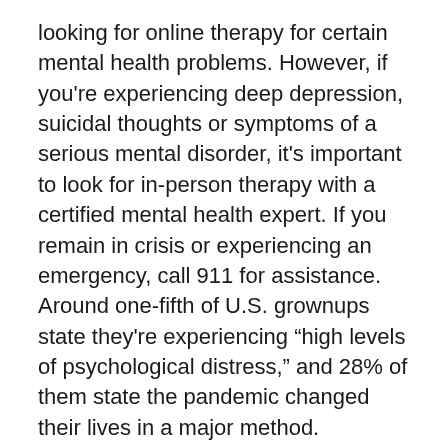looking for online therapy for certain mental health problems. However, if you're experiencing deep depression, suicidal thoughts or symptoms of a serious mental disorder, it's important to look for in-person therapy with a certified mental health expert. If you remain in crisis or experiencing an emergency, call 911 for assistance.
Around one-fifth of U.S. grownups state they're experiencing “high levels of psychological distress,” and 28% of them state the pandemic changed their lives in a major method.
At the exact same time, resources for in person psychological health services weren’t easily available due to public health